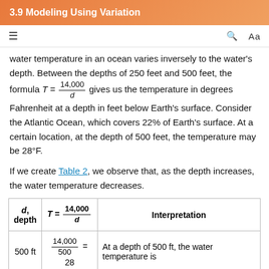3.9 Modeling Using Variation
water temperature in an ocean varies inversely to the water's depth. Between the depths of 250 feet and 500 feet, the formula T = 14,000/d gives us the temperature in degrees Fahrenheit at a depth in feet below Earth's surface. Consider the Atlantic Ocean, which covers 22% of Earth's surface. At a certain location, at the depth of 500 feet, the temperature may be 28°F.
If we create Table 2, we observe that, as the depth increases, the water temperature decreases.
| d, depth | T = 14,000/d | Interpretation |
| --- | --- | --- |
| 500 ft | 14,000/500 = 28 | At a depth of 500 ft, the water temperature is |